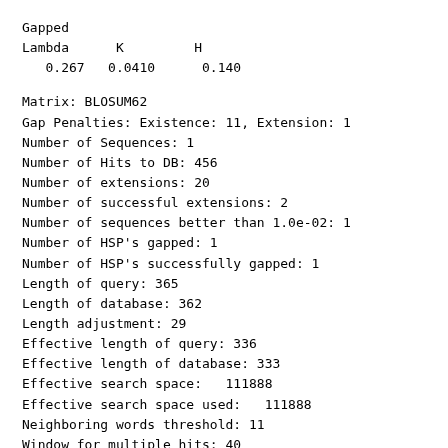Gapped
Lambda      K         H
   0.267   0.0410      0.140
Matrix: BLOSUM62
Gap Penalties: Existence: 11, Extension: 1
Number of Sequences: 1
Number of Hits to DB: 456
Number of extensions: 20
Number of successful extensions: 2
Number of sequences better than 1.0e-02: 1
Number of HSP's gapped: 1
Number of HSP's successfully gapped: 1
Length of query: 365
Length of database: 362
Length adjustment: 29
Effective length of query: 336
Effective length of database: 333
Effective search space:   111888
Effective search space used:   111888
Neighboring words threshold: 11
Window for multiple hits: 40
X1: 16 ( 7.4 bits)
X2: 38 (14.6 bits)
X3: 64 (24.7 bits)
S1: 41 (21.8 bits)
S2: 49 (23.5 bits)